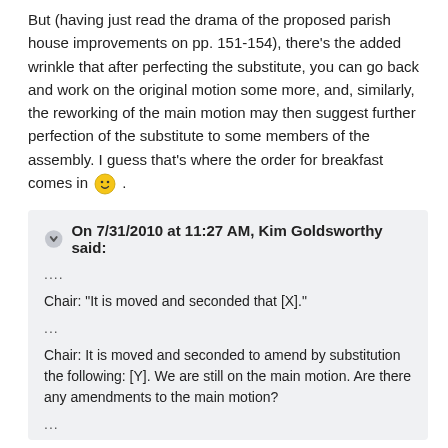But (having just read the drama of the proposed parish house improvements on pp. 151-154), there's the added wrinkle that after perfecting the substitute, you can go back and work on the original motion some more, and, similarly, the reworking of the main motion may then suggest further perfection of the substitute to some members of the assembly. I guess that's where the order for breakfast comes in 🙂 .
On 7/31/2010 at 11:27 AM, Kim Goldsworthy said: .... Chair: "It is moved and seconded that [X]." ... Chair: It is moved and seconded to amend by substitution the following: [Y]. We are still on the main motion. Are there any amendments to the main motion? ...